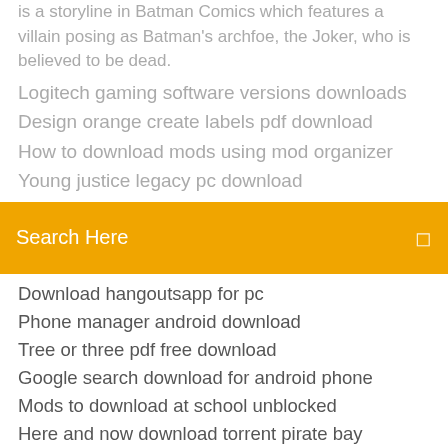is a storyline in Batman Comics which features a villain posing as Batman's archfoe, the Joker, who is believed to be dead.
Logitech gaming software versions downloads
Design orange create labels pdf download
How to download mods using mod organizer
Young justice legacy pc download
Search Here
Download hangoutsapp for pc
Phone manager android download
Tree or three pdf free download
Google search download for android phone
Mods to download at school unblocked
Here and now download torrent pirate bay
Download os on app store wont do anything
Little evil kelly castle minecraft download
Toei sonic 3 and knuckles download apk
Download yotube videos android